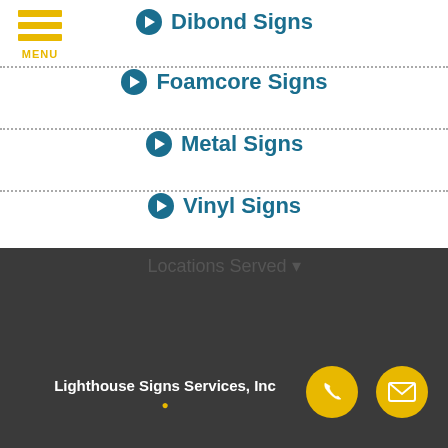[Figure (other): Hamburger menu icon with three horizontal yellow bars and MENU label below]
Dibond Signs
Foamcore Signs
Metal Signs
Vinyl Signs
Locations Served
Lighthouse Signs Services, Inc.